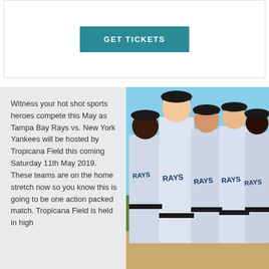[Figure (other): GET TICKETS button in teal/dark cyan color]
Witness your hot shot sports heroes compete this May as Tampa Bay Rays vs. New York Yankees will be hosted by Tropicana Field this coming Saturday 11th May 2019. These teams are on the home stretch now so you know this is going to be one action packed match. Tropicana Field is held in high
[Figure (photo): Five Tampa Bay Rays baseball players in white Rays uniforms posing together outdoors]